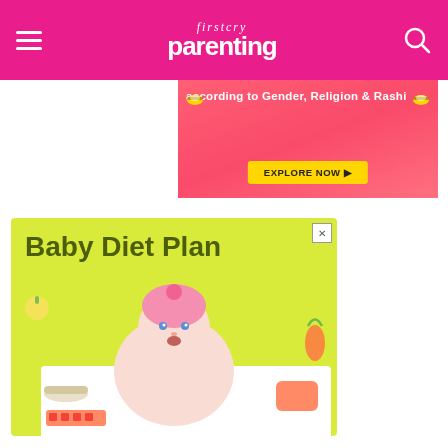firstcry parenting
[Figure (infographic): Promotional banner ad with pink/coral background showing text 'according to Gender, Religion & Rashi' with an 'EXPLORE NOW' yellow button and bee decorations]
[Figure (infographic): Baby Diet Plan advertisement with yellow-green background featuring a baby in pink hat sitting at a table with food items, text reads 'Baby Diet Plan' in dark olive/green bold font]